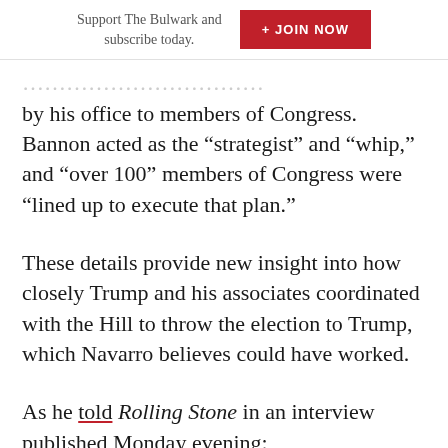Support The Bulwark and subscribe today.  + JOIN NOW
by his office to members of Congress. Bannon acted as the “strategist” and “whip,” and “over 100” members of Congress were “lined up to execute that plan.”
These details provide new insight into how closely Trump and his associates coordinated with the Hill to throw the election to Trump, which Navarro believes could have worked.
As he told Rolling Stone in an interview published Monday evening: